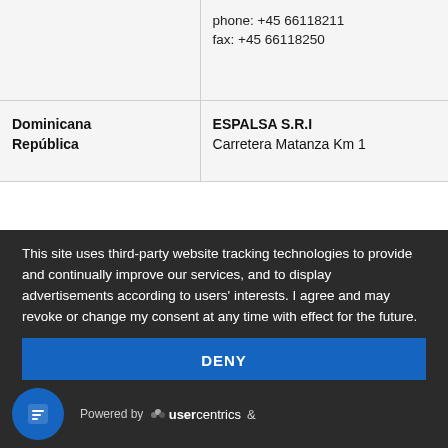|  | phone: +45 66118211
fax: +45 66118250 |
| Dominicana República | ESPALSA S.R.I
Carretera Matanza Km 1 |
This site uses third-party website tracking technologies to provide and continually improve our services, and to display advertisements according to users' interests. I agree and may revoke or change my consent at any time with effect for the future.
DENY
ACCEPT
MORE
Powered by usercentrics &